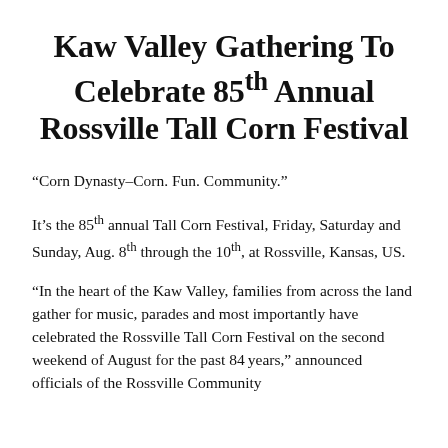Kaw Valley Gathering To Celebrate 85th Annual Rossville Tall Corn Festival
“Corn Dynasty–Corn. Fun. Community.”
It’s the 85th annual Tall Corn Festival, Friday, Saturday and Sunday, Aug. 8th through the 10th, at Rossville, Kansas, US.
“In the heart of the Kaw Valley, families from across the land gather for music, parades and most importantly have celebrated the Rossville Tall Corn Festival on the second weekend of August for the past 84 years,” announced officials of the Rossville Community